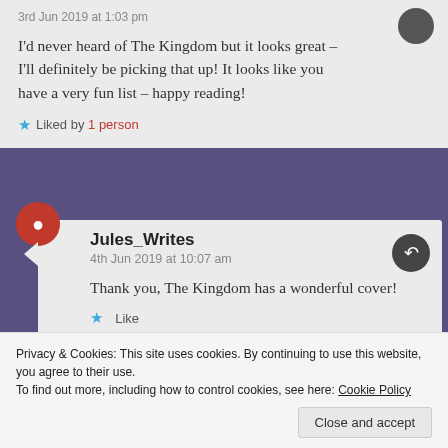3rd Jun 2019 at 1:03 pm
I'd never heard of The Kingdom but it looks great – I'll definitely be picking that up! It looks like you have a very fun list – happy reading!
Liked by 1 person
Jules_Writes
4th Jun 2019 at 10:07 am
Thank you, The Kingdom has a wonderful cover!
Like
Privacy & Cookies: This site uses cookies. By continuing to use this website, you agree to their use.
To find out more, including how to control cookies, see here: Cookie Policy
Close and accept